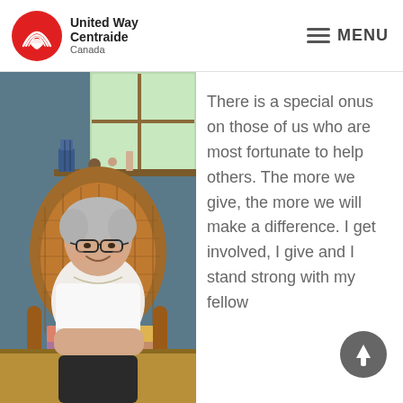United Way Centraide Canada | MENU
[Figure (photo): Elderly woman with short grey hair and glasses, smiling, seated in a wicker rattan armchair with a colourful patchwork cushion, wearing a white short-sleeve top and black trousers, in a cozy home interior with a blue wall, wood-framed window, and some decorative items on a shelf.]
There is a special onus on those of us who are most fortunate to help others. The more we give, the more we will make a difference. I get involved, I give and I stand strong with my fellow